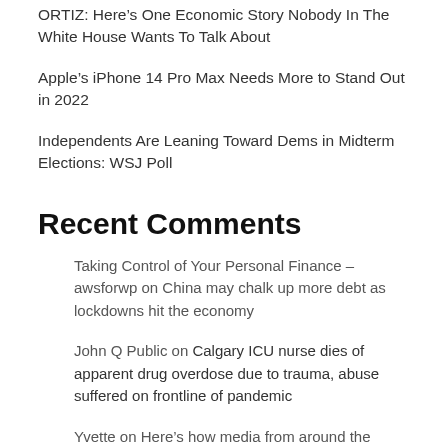ORTIZ: Here's One Economic Story Nobody In The White House Wants To Talk About
Apple's iPhone 14 Pro Max Needs More to Stand Out in 2022
Independents Are Leaning Toward Dems in Midterm Elections: WSJ Poll
Recent Comments
Taking Control of Your Personal Finance – awsforwp on China may chalk up more debt as lockdowns hit the economy
John Q Public on Calgary ICU nurse dies of apparent drug overdose due to trauma, abuse suffered on frontline of pandemic
Yvette on Here's how media from around the world describe Justin Trudeau's election victory